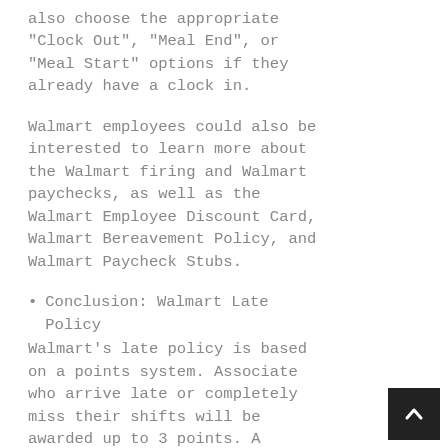also choose the appropriate "Clock Out", "Meal End", or "Meal Start" options if they already have a clock in.
Walmart employees could also be interested to learn more about the Walmart firing and Walmart paychecks, as well as the Walmart Employee Discount Card, Walmart Bereavement Policy, and Walmart Paycheck Stubs.
Conclusion: Walmart Late Policy
Walmart's late policy is based on a points system. Associate who arrive late or completely miss their shifts will be awarded up to 3 points. A maximum of five points per six-month period is allowed before an associate can be terminated.